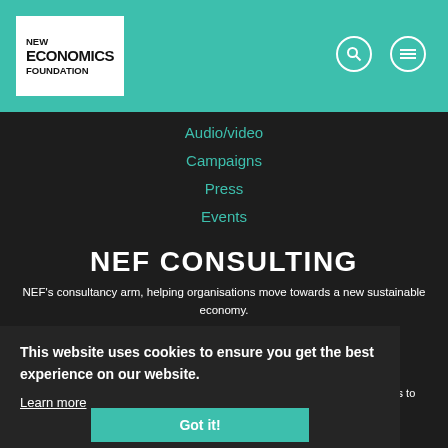NEW ECONOMICS FOUNDATION
Audio/video
Campaigns
Press
Events
NEF CONSULTING
NEF's consultancy arm, helping organisations move towards a new sustainable economy.
Visit NEF Consulting
CHANGE THE RULES
We map local projects building a more democratic economy and the policies to make this happen.
This website uses cookies to ensure you get the best experience on our website.
Learn more
Got it!
Visit Change The Rules